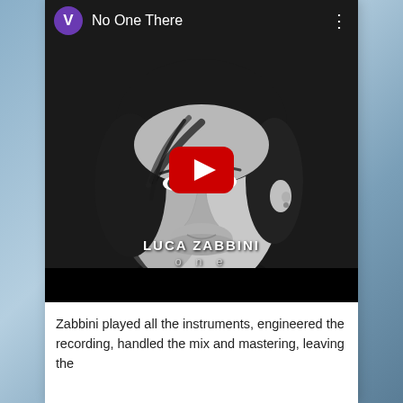No One There
[Figure (screenshot): YouTube video thumbnail showing a black and white close-up portrait of a man with medium-length dark hair and a turtleneck, with text 'LUCA ZABBINI one' overlaid at the bottom, and a red YouTube play button in the center. The card has a dark header bar with a purple 'V' avatar circle and the title 'No One There'.]
Zabbini played all the instruments, engineered the recording, handled the mix and mastering, leaving the